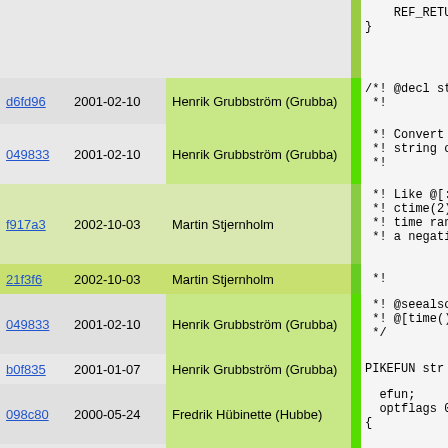| hash | date | author |  | code |
| --- | --- | --- | --- | --- |
|  |  |  |  |     REF_RETURN
} |
| d6fd96 | 2001-02-10 | Henrik Grubbström (Grubba) | | | /*! @decl st
 *! |
| 049833 | 2001-02-10 | Henrik Grubbström (Grubba) | | |  *! Convert
 *! string o
 *! |
| f917a3 | 2002-10-03 | Martin Stjernholm | | |  *! Like @[;
 *! ctime(2)
 *! time ran
 *! a negati |
| 21f3f6 | 2002-10-03 | Martin Stjernholm | | |  *! |
| 049833 | 2001-02-10 | Henrik Grubbström (Grubba) | | |  *! @seealso
 *! @[time()
 */ |
| b0f835 | 2001-01-07 | Henrik Grubbström (Grubba) | | | PIKEFUN str |
| 098c80 | 2000-05-24 | Fredrik Hübinette (Hubbe) | | |   efun;
  optflags 0
{
 |
| b0f835 | 2001-01-07 | Henrik Grubbström (Grubba) | | |   time_t i= |
| 21f3f6 | 2002-10-03 | Martin Stjernholm | | |   char *s = |
| f917a3 | 2002-10-03 | Martin Stjernholm | | |   if (!s) P |